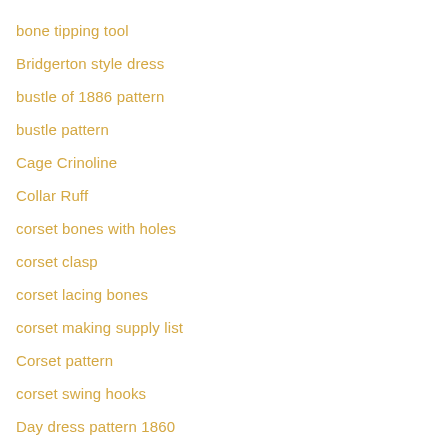bone tipping tool
Bridgerton style dress
bustle of 1886 pattern
bustle pattern
Cage Crinoline
Collar Ruff
corset bones with holes
corset clasp
corset lacing bones
corset making supply list
Corset pattern
corset swing hooks
Day dress pattern 1860
Dore corset pattern